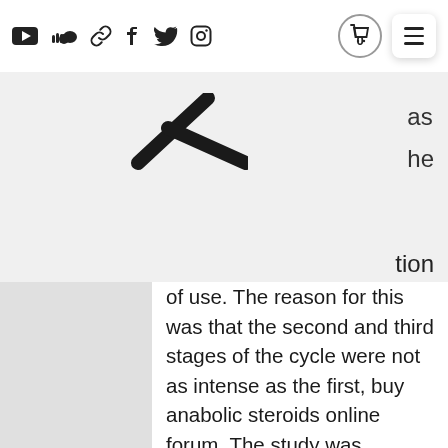[Navigation bar with social icons: YouTube, SoundCloud, link, Facebook, Twitter, Instagram, cart (0), menu]
[Figure (logo): Stylized letter A logo mark in dark color]
tion of use. The reason for this was that the second and third stages of the cycle were not as intense as the first, buy anabolic steroids online forum. The study was published in The Lancet.
The study is extremely interesting in that it gives us an important clue to a very interesting and important area of research that I was never going to understand before using it, best steroid labs in south africa. The way it works is that a drug (such as the steroids hydroxy and oestrogenic) is taken by mouth as a pill and it is given to the body. This is an accurate description of how it works. After